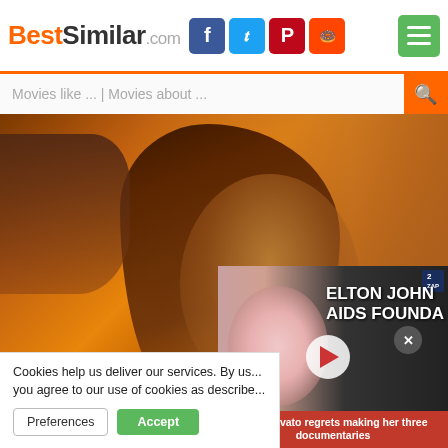BestSimilar.com
Movies like ... | Movies about ...
[Figure (photo): Movie poster with close-up of male actor face against orange glowing background, woman visible in upper left]
[Figure (screenshot): Video ad thumbnail showing woman's face with ELTON JOHN AIDS FOUNDATION text overlay and play button, caption: Demi Lovato regrets making her three documentaries]
Cookies help us deliver our services. By us... you agree to our use of cookies as describe...
Preferences
Accept